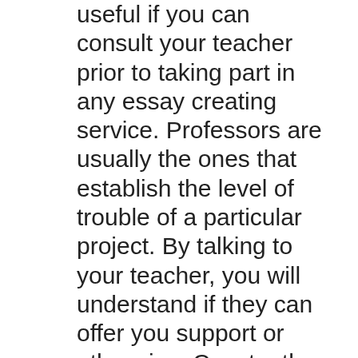useful if you can consult your teacher prior to taking part in any essay creating service. Professors are usually the ones that establish the level of trouble of a particular project. By talking to your teacher, you will understand if they can offer you support or otherwise. Constantly bear in mind that you do not need to work with a person with a postgraduate degree in order to end up being